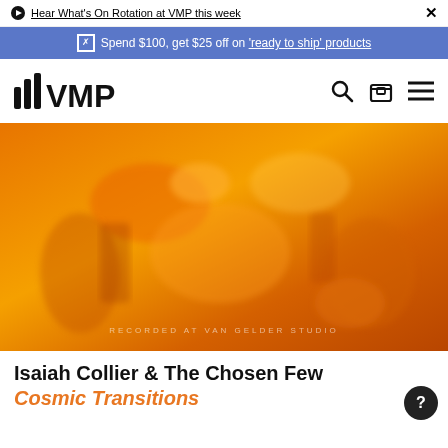Hear What's On Rotation at VMP this week
Spend $100, get $25 off on 'ready to ship' products
[Figure (logo): VMP logo with vertical bar graph icon on left, navigation icons (search, box, menu) on right]
[Figure (photo): Orange-tinted album artwork for Cosmic Transitions by Isaiah Collier & The Chosen Few, showing blurred jazz instruments. Text reads 'RECORDED AT VAN GELDER STUDIO' at the bottom.]
Isaiah Collier & The Chosen Few
Cosmic Transitions